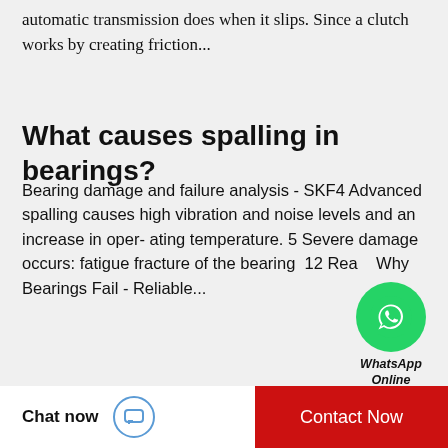automatic transmission does when it slips. Since a clutch works by creating friction...
What causes spalling in bearings?
Bearing damage and failure analysis - SKF4 Advanced spalling causes high vibration and noise levels and an increase in oper- ating temperature. 5 Severe damage occurs: fatigue fracture of the bearing  12 Rea... Why Bearings Fail - Reliable...
[Figure (logo): WhatsApp green circle logo with phone icon, labeled WhatsApp Online]
Recommended Products
[Figure (photo): Product photo of a bearing/hub assembly component, metallic, industrial part]
[Figure (photo): Product photo of a bearing/hub assembly component, metallic, industrial part]
Chat now
Contact Now